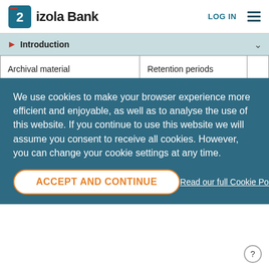izola Bank | LOG IN
Introduction
| Archival material | Retention periods |  |
| --- | --- | --- |
| Documentation to be kept in terms of Article 3.69 of the Companies Act, Companies (Management Act) | 10 years, starting from the end of the relative financial year |  |
| Transaction Date | 10 years from the date of the transaction |  |
|  | 10 years from the date of |  |
We use cookies to make your browser experience more efficient and enjoyable, as well as to analyse the use of this website. If you continue to use this website we will assume you consent to receive all cookies. However, you can change your cookie settings at any time.
ACCEPT AND CONTINUE
Read our full Cookie Policy